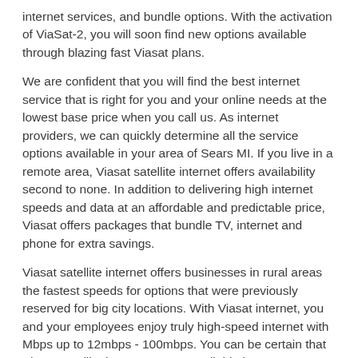internet services, and bundle options. With the activation of ViaSat-2, you will soon find new options available through blazing fast Viasat plans.
We are confident that you will find the best internet service that is right for you and your online needs at the lowest base price when you call us. As internet providers, we can quickly determine all the service options available in your area of Sears MI. If you live in a remote area, Viasat satellite internet offers availability second to none. In addition to delivering high internet speeds and data at an affordable and predictable price, Viasat offers packages that bundle TV, internet and phone for extra savings.
Viasat satellite internet offers businesses in rural areas the fastest speeds for options that were previously reserved for big city locations. With Viasat internet, you and your employees enjoy truly high-speed internet with Mbps up to 12mbps - 100mbps. You can be certain that Viasat satellite internet comes available in Sears MI. With Viasat